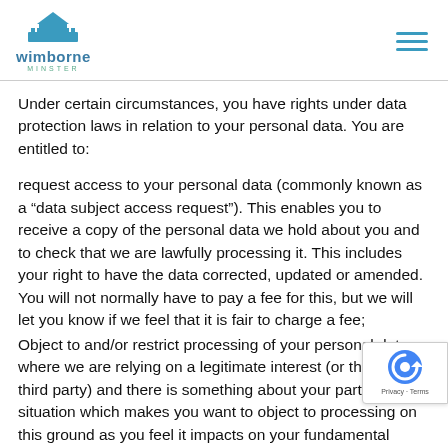wimborne minster
Under certain circumstances, you have rights under data protection laws in relation to your personal data. You are entitled to:
request access to your personal data (commonly known as a “data subject access request”). This enables you to receive a copy of the personal data we hold about you and to check that we are lawfully processing it. This includes your right to have the data corrected, updated or amended. You will not normally have to pay a fee for this, but we will let you know if we feel that it is fair to charge a fee;
Object to and/or restrict processing of your personal data where we are relying on a legitimate interest (or those of a third party) and there is something about your particular situation which makes you want to object to processing on this ground as you feel it impacts on your fundamental